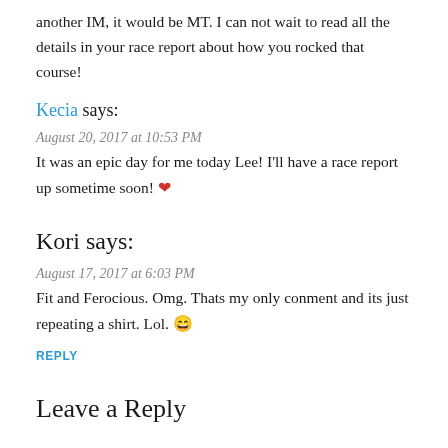another IM, it would be MT. I can not wait to read all the details in your race report about how you rocked that course!
Kecia says:
August 20, 2017 at 10:53 PM
It was an epic day for me today Lee! I'll have a race report up sometime soon! ❤
Kori says:
August 17, 2017 at 6:03 PM
Fit and Ferocious. Omg. Thats my only conment and its just repeating a shirt. Lol. 😄
REPLY
Leave a Reply